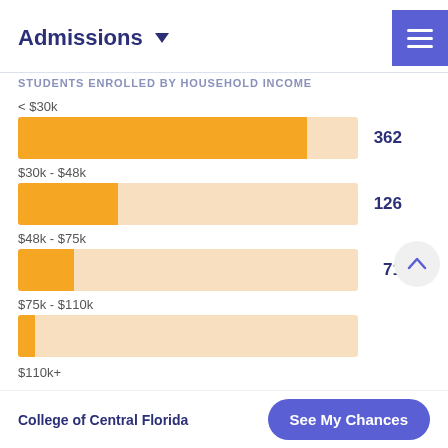Admissions
STUDENTS ENROLLED BY HOUSEHOLD INCOME
[Figure (bar-chart): Students Enrolled by Household Income]
College of Central Florida  See My Chances